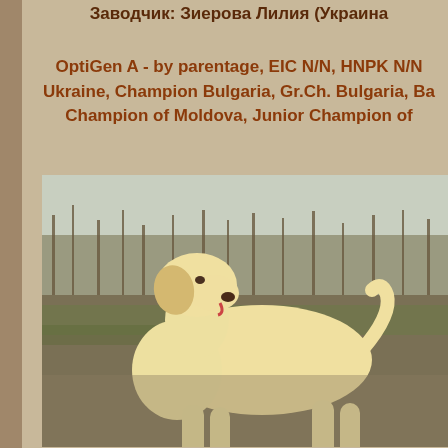Заводчик: Зиерова Лилия (Украина
OptiGen A - by parentage, EIC N/N, HNPK N/N Ukraine, Champion Bulgaria, Gr.Ch. Bulgaria, Ba Champion of Moldova, Junior Champion of
[Figure (photo): A yellow Labrador Retriever dog standing in a field with bare trees in the background, viewed in profile facing right.]